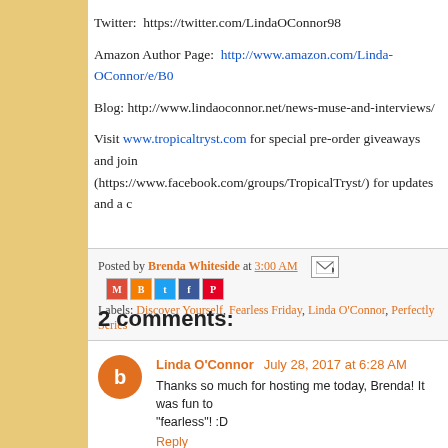Twitter:  https://twitter.com/LindaOConnor98
Amazon Author Page:  http://www.amazon.com/Linda-OConnor/e/B0...
Blog: http://www.lindaoconnor.net/news-muse-and-interviews/
Visit www.tropicaltryst.com for special pre-order giveaways and join (https://www.facebook.com/groups/TropicalTryst/) for updates and a ...
Posted by Brenda Whiteside at 3:00 AM
Labels: Discover Yourself, Fearless Friday, Linda O'Connor, Perfectly Series...
2 comments:
Linda O'Connor  July 28, 2017 at 6:28 AM
Thanks so much for hosting me today, Brenda! It was fun to ... "fearless"! :D
Reply